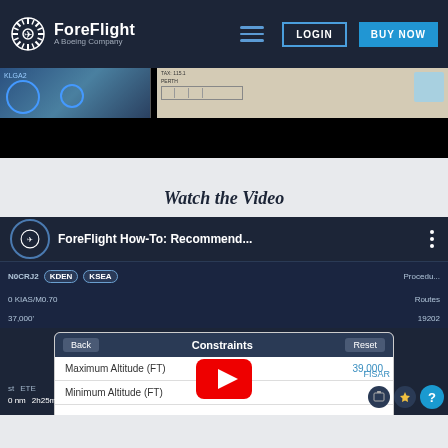[Figure (screenshot): ForeFlight website navigation bar with logo (ForeFlight A Boeing Company), hamburger menu icon, LOGIN button, and BUY NOW button on dark navy background]
[Figure (screenshot): Partially visible video/image strip showing aviation charts and maps on left and right, with black area below]
Watch the Video
[Figure (screenshot): YouTube video thumbnail showing ForeFlight How-To: Recommend... with ForeFlight logo circle, three-dot menu. Below shows ForeFlight app UI with N0CRJ2 aircraft, KDEN and KSEA airport tags, Constraints panel with Back/Reset buttons, Maximum Altitude (FT) set to 39,000, Minimum Altitude (FT) set to 0, Include Waypoints row, and a YouTube play button overlay. Right side shows Procedures and Routes labels with number 19202.]